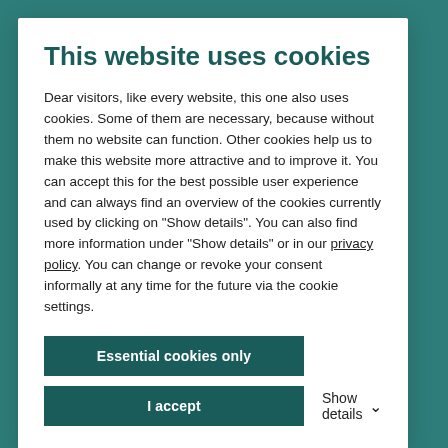This website uses cookies
Dear visitors, like every website, this one also uses cookies. Some of them are necessary, because without them no website can function. Other cookies help us to make this website more attractive and to improve it. You can accept this for the best possible user experience and can always find an overview of the cookies currently used by clicking on "Show details". You can also find more information under "Show details" or in our privacy policy. You can change or revoke your consent informally at any time for the future via the cookie settings.
Essential cookies only
I accept
Show details
CONDUCTANCE AND BODY TEMPERATURE. WHY BIOFEEDBACK CAN IDEALLY